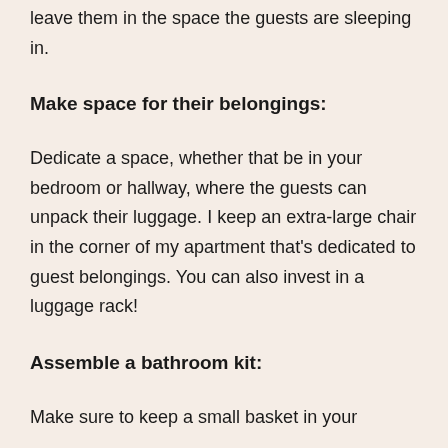leave them in the space the guests are sleeping in.
Make space for their belongings:
Dedicate a space, whether that be in your bedroom or hallway, where the guests can unpack their luggage. I keep an extra-large chair in the corner of my apartment that's dedicated to guest belongings. You can also invest in a luggage rack!
Assemble a bathroom kit:
Make sure to keep a small basket in your